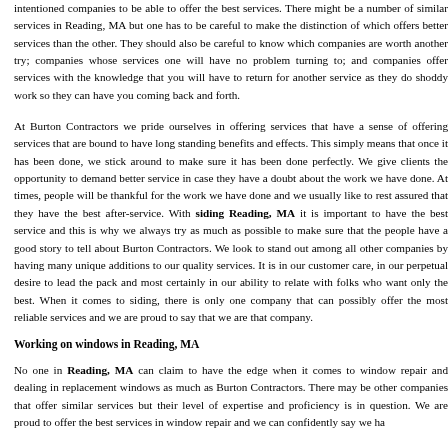intentioned companies to be able to offer the best services. There might be a number of similar services in Reading, MA but one has to be careful to make the distinction of which offers better services than the other. They should also be careful to know which companies are worth another try; companies whose services one will have no problem turning to; and companies offer services with the knowledge that you will have to return for another service as they do shoddy work so they can have you coming back and forth.
At Burton Contractors we pride ourselves in offering services that have a sense of offering services that are bound to have long standing benefits and effects. This simply means that once it has been done, we stick around to make sure it has been done perfectly. We give clients the opportunity to demand better service in case they have a doubt about the work we have done. At times, people will be thankful for the work we have done and we usually like to rest assured that they have the best after-service. With siding Reading, MA it is important to have the best service and this is why we always try as much as possible to make sure that the people have a good story to tell about Burton Contractors. We look to stand out among all other companies by having many unique additions to our quality services. It is in our customer care, in our perpetual desire to lead the pack and most certainly in our ability to relate with folks who want only the best. When it comes to siding, there is only one company that can possibly offer the most reliable services and we are proud to say that we are that company.
Working on windows in Reading, MA
No one in Reading, MA can claim to have the edge when it comes to window repair and dealing in replacement windows as much as Burton Contractors. There may be other companies that offer similar services but their level of expertise and proficiency is in question. We are proud to offer the best services in window repair and we can confidently say we have the best...